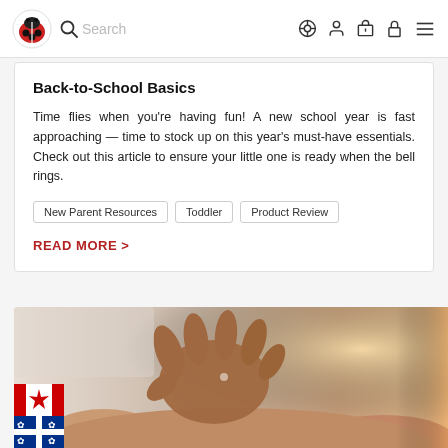Search | Navigation icons (location, user, gift, bag, menu)
Back-to-School Basics
Time flies when you're having fun! A new school year is fast approaching — time to stock up on this year's must-have essentials. Check out this article to ensure your little one is ready when the bell rings.
New Parent Resources
Toddler
Product Review
READ MORE >
[Figure (photo): Close-up photo of a baby's hand grasping an adult's finger, warm golden light on the right side. Canadian and Quebec flags visible in the bottom-left corner.]